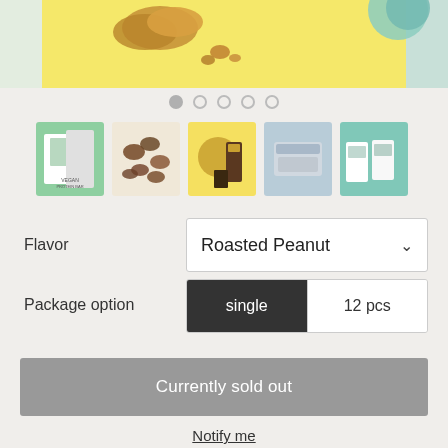[Figure (photo): Hero product image showing roasted peanuts on yellow background, with green strip on far left and teal strip on far right]
[Figure (photo): Five product thumbnail images in a row: vegan protein bar packaging, chocolate-covered nuts, product jars on yellow background, open protein bar, protein bar boxes]
Flavor
Roasted Peanut
Package option
single
12 pcs
Currently sold out
Notify me